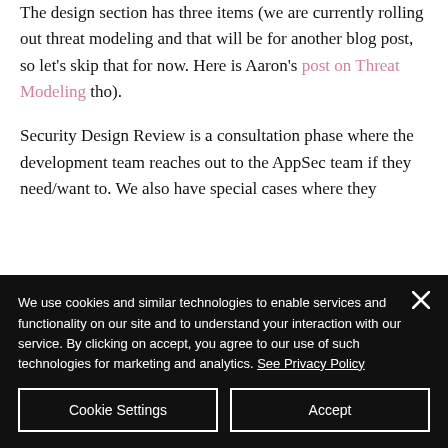The design section has three items (we are currently rolling out threat modeling and that will be for another blog post, so let's skip that for now. Here is Aaron's post on Threat Modeling tho).

Security Design Review is a consultation phase where the development team reaches out to the AppSec team if they need/want to. We also have special cases where they
We use cookies and similar technologies to enable services and functionality on our site and to understand your interaction with our service. By clicking on accept, you agree to our use of such technologies for marketing and analytics. See Privacy Policy
Cookie Settings | Accept